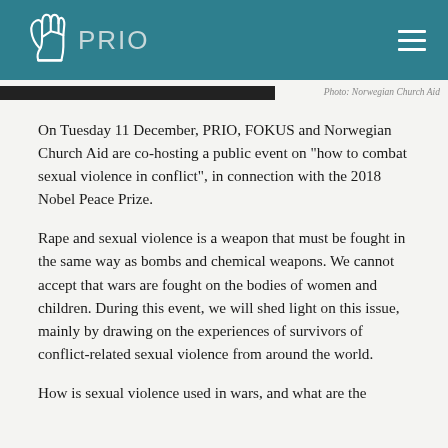PRIO
Photo: Norwegian Church Aid
On Tuesday 11 December, PRIO, FOKUS and Norwegian Church Aid are co-hosting a public event on "how to combat sexual violence in conflict", in connection with the 2018 Nobel Peace Prize.
Rape and sexual violence is a weapon that must be fought in the same way as bombs and chemical weapons. We cannot accept that wars are fought on the bodies of women and children. During this event, we will shed light on this issue, mainly by drawing on the experiences of survivors of conflict-related sexual violence from around the world.
How is sexual violence used in wars, and what are the